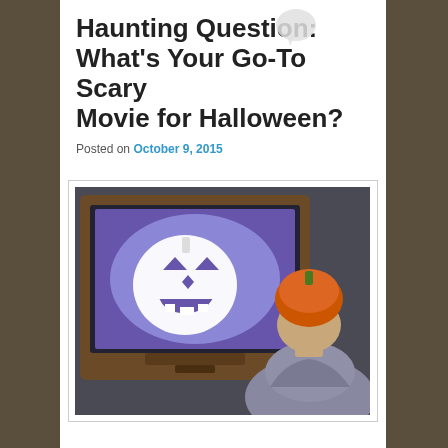Haunting Question: What's Your Go-To Scary Movie for Halloween?
Posted on October 9, 2015
[Figure (photo): A person wearing an orange pumpkin hat viewed from behind, sitting in front of a vintage CRT television displaying a glowing jack-o-lantern on a purple/blue screen.]
If you're a horror buff you undoubtedly have a go-to film when the Halloween spirit drifts in on cool autumn air. You know, that one you find yourself glued to the instant it